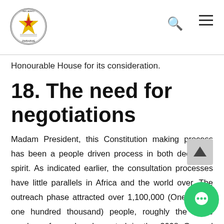Parliament of Zimbabwe
Honourable House for its consideration.
18. The need for negotiations
Madam President, this Constitution making process has been a people driven process in both deed and spirit. As indicated earlier, the consultation processes have little parallels in Africa and the world over. The outreach phase attracted over 1,100,000 (One million one hundred thousand) people, roughly the same number of people who voted in the 2008 General Elections. Mr. Speaker, negotiations were necessary because of the diverse views raised by the people. Specifically, negotiations were